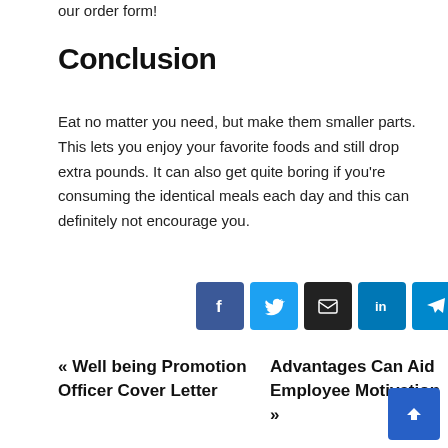our order form!
Conclusion
Eat no matter you need, but make them smaller parts. This lets you enjoy your favorite foods and still drop extra pounds. It can also get quite boring if you're consuming the identical meals each day and this can definitely not encourage you.
[Figure (other): Social sharing icon buttons: Facebook, Twitter, Email, LinkedIn, Telegram, Pinterest]
« Well being Promotion Officer Cover Letter
Advantages Can Aid Employee Motivation »